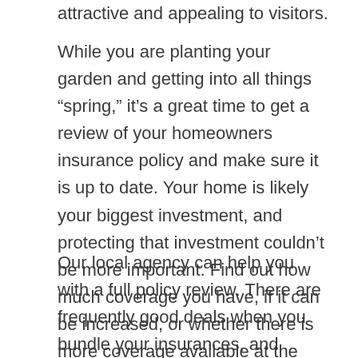attractive and appealing to visitors.
While you are planting your garden and getting into all things “spring,” it’s a great time to get a review of your homeowners insurance policy and make sure it is up to date. Your home is likely your biggest investment, and protecting that investment couldn’t be more important. Find out how much coverage you have, if it can be increased, or whether there is more coverage available at the same or lower price.
Our local agency can help you with a full policy review. There are frequently good deals when you bundle your insurances, and special offers that pop up that could really make a difference for you. We are happy to